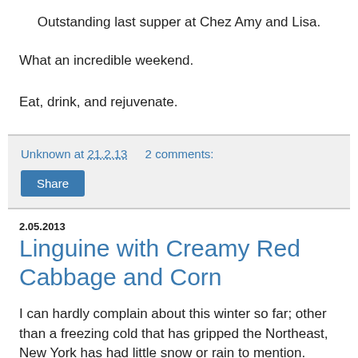Outstanding last supper at Chez Amy and Lisa.
What an incredible weekend.
Eat, drink, and rejuvenate.
Unknown at 21.2.13    2 comments:
Share
2.05.2013
Linguine with Creamy Red Cabbage and Corn
I can hardly complain about this winter so far; other than a freezing cold that has gripped the Northeast, New York has had little snow or rain to mention.  Nevertheless, I feel like I would give damn-near anything for a peach straight from the